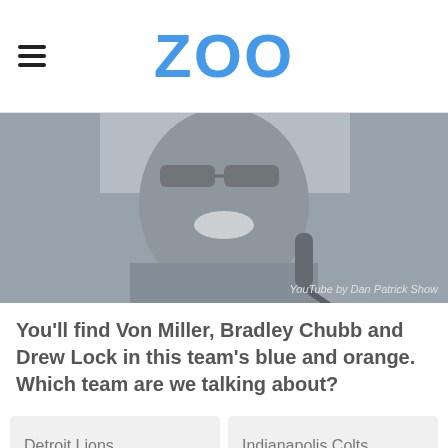ZOO
[Figure (photo): Black and white photo of a smiling man wearing sunglasses and a jersey, seated near a microphone. Credit: YouTube by Dan Patrick Show]
You'll find Von Miller, Bradley Chubb and Drew Lock in this team's blue and orange. Which team are we talking about?
Detroit Lions
Indianapolis Colts
Denver Broncos
Seattle Seahawks